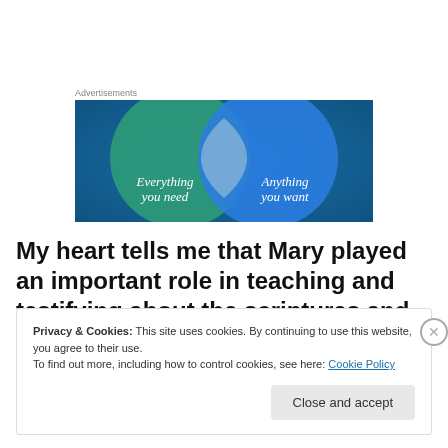Advertisements
[Figure (illustration): Advertisement banner showing two overlapping circles (Venn diagram style) on a blue/teal background. Left circle (teal/green) with text 'Everything you need', right circle (blue) with text 'Anything you want'.]
My heart tells me that Mary played an important role in teaching and testifying about the scriptures and helping
Privacy & Cookies: This site uses cookies. By continuing to use this website, you agree to their use.
To find out more, including how to control cookies, see here: Cookie Policy
Close and accept